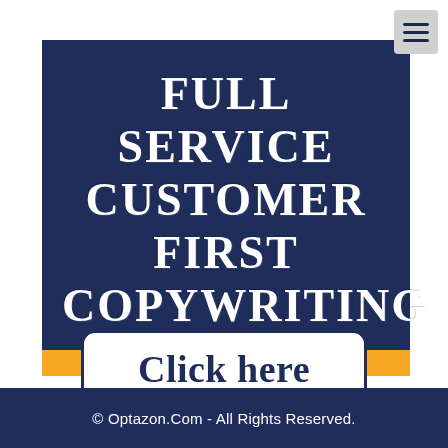[Figure (other): Hamburger/menu icon in top right corner, grey square with three horizontal dark lines]
FULL SERVICE CUSTOMER FIRST COPYWRITING
Click here
© Optazon.Com - All Rights Reserved.